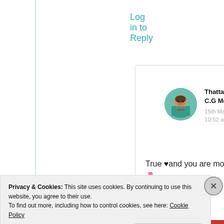Log in to Reply
[Figure (illustration): Comment card with user avatar (circular photo of a woman), author name 'Thattamma C.G Menon', date '15th May 2021 at 10:52 am', and comment text 'True ♥and you are most welcome 🙏🌷']
Privacy & Cookies: This site uses cookies. By continuing to use this website, you agree to their use.
To find out more, including how to control cookies, see here: Cookie Policy
Close and accept